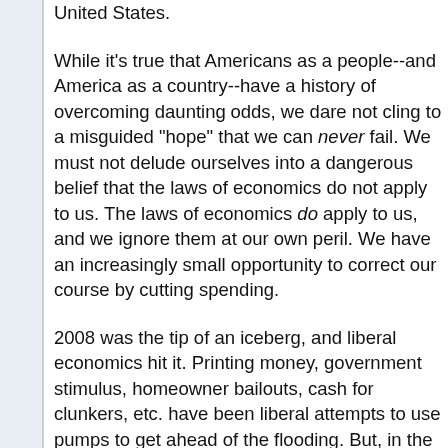United States.
While it's true that Americans as a people--and America as a country--have a history of overcoming daunting odds, we dare not cling to a misguided "hope" that we can never fail. We must not delude ourselves into a dangerous belief that the laws of economics do not apply to us. The laws of economics do apply to us, and we ignore them at our own peril. We have an increasingly small opportunity to correct our course by cutting spending.
2008 was the tip of an iceberg, and liberal economics hit it. Printing money, government stimulus, homeowner bailouts, cash for clunkers, etc. have been liberal attempts to use pumps to get ahead of the flooding. But, in the words of Titanic's character Thomas Andrews, "The pumps buy you time, but minutes only. From this moment, no matter what we do, Titanic will